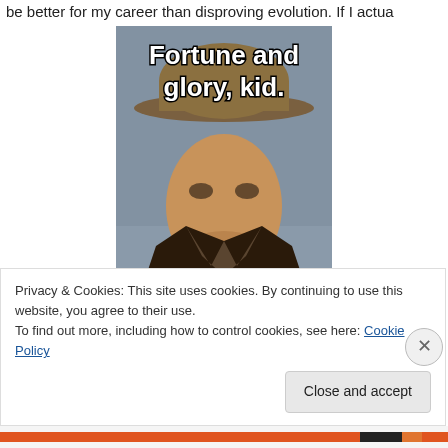be better for my career than disproving evolution. If I actua
[Figure (photo): Meme image of Indiana Jones (Harrison Ford) character wearing a fedora hat and leather jacket, with bold white text overlay reading 'Fortune and glory, kid.' at the top and 'Fortune and glory.' at the bottom.]
Privacy & Cookies: This site uses cookies. By continuing to use this website, you agree to their use.
To find out more, including how to control cookies, see here: Cookie Policy
Close and accept